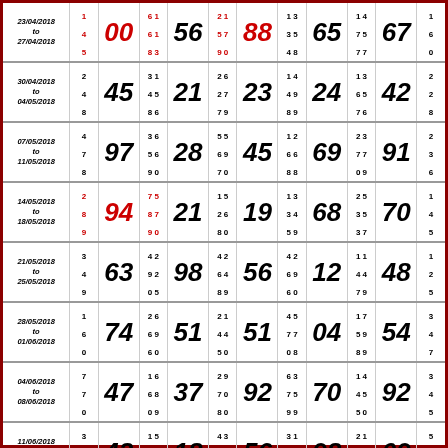| Date | S1 | B1 | S2 | B2 | S3 | B3 | S4 | B4 | S5 | B5 | S6 | B6 | S7 |
| --- | --- | --- | --- | --- | --- | --- | --- | --- | --- | --- | --- | --- | --- |
| 23/04/2018 to 27/04/2018 | 1 4 5 | 00 | 6 1 6 1 8 3 | 56 | 2 1 5 7 9 0 | 88 | 1 3 3 5 4 8 | 65 | 1 4 7 5 7 7 | 67 | 1 6 0 |
| 30/04/2018 to 04/05/2018 | 2 4 8 | 45 | 3 1 4 5 8 6 | 21 | 2 6 2 7 7 9 | 23 | 1 4 4 9 8 9 | 24 | 1 3 6 5 7 6 | 42 | 2 2 8 |
| 07/05/2018 to 11/05/2018 | 4 7 8 | 97 | 3 6 5 6 9 0 | 28 | 5 5 6 9 7 0 | 45 | 1 2 6 6 8 8 | 69 | 2 3 7 7 0 9 | 91 | 2 3 6 |
| 14/05/2018 to 18/05/2018 | 2 8 9 | 94 | 7 5 8 7 9 0 | 21 | 1 5 2 6 8 0 | 19 | 1 3 3 4 5 9 | 68 | 2 5 3 5 3 7 | 70 | 1 4 5 |
| 21/05/2018 to 25/05/2018 | 3 4 9 | 63 | 4 2 9 2 0 5 | 98 | 4 2 6 4 8 9 | 56 | 4 2 6 9 6 0 | 12 | 1 1 4 4 7 9 | 48 | 1 2 5 |
| 28/05/2018 to 01/06/2018 | 1 6 0 | 74 | 2 6 6 9 6 0 | 51 | 2 1 4 4 5 0 | 51 | 4 5 7 7 0 8 | 04 | 1 7 5 9 8 9 | 54 | 3 4 7 |
| 04/06/2018 to 08/06/2018 | 7 7 0 | 47 | 1 6 6 8 0 9 | 37 | 2 9 7 0 8 0 | 92 | 6 3 7 5 9 9 | 70 | 1 4 4 5 5 0 | 92 | 3 4 5 |
| 11/06/2018 to 15/06/2018 | 3 5 6 | 43 | 1 5 5 6 7 0 | 18 | 4 3 6 3 8 9 | 56 | 3 1 5 2 8 6 | 98 | 2 1 6 3 0 6 | 09 | 5 5 9 |